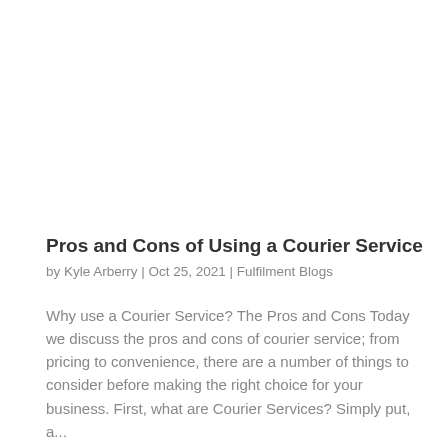Pros and Cons of Using a Courier Service
by Kyle Arberry | Oct 25, 2021 | Fulfilment Blogs
Why use a Courier Service? The Pros and Cons Today we discuss the pros and cons of courier service; from pricing to convenience, there are a number of things to consider before making the right choice for your business. First, what are Courier Services? Simply put, a...